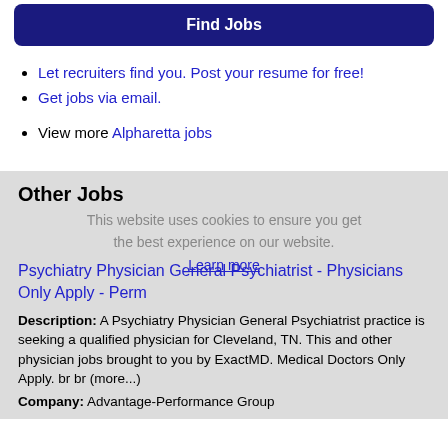Find Jobs
Let recruiters find you. Post your resume for free!
Get jobs via email.
View more Alpharetta jobs
Other Jobs
This website uses cookies to ensure you get the best experience on our website. Learn more
Psychiatry Physician General Psychiatrist - Physicians Only Apply - Perm
Description: A Psychiatry Physician General Psychiatrist practice is seeking a qualified physician for Cleveland, TN. This and other physician jobs brought to you by ExactMD. Medical Doctors Only Apply. br br (more...)
Company: Advantage-Performance Group